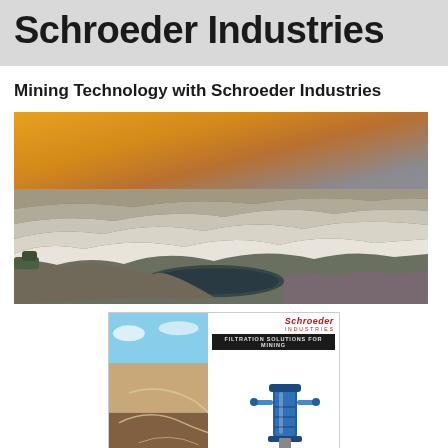Schroeder Industries
Mining Technology with Schroeder Industries
[Figure (photo): Aerial panoramic view of an open-pit quarry or mine at sunset, with dramatic orange sky and white/grey terraced rock formations surrounding a dark pool of water.]
[Figure (photo): A Schroeder Industries brochure cover titled 'FILTRATION SOLUTIONS FOR MINING' showing an aerial view of a mine on the left and industrial filtration equipment (blue hydraulic filter assembly) on the right, with the Schroeder Industries logo in red at top right.]